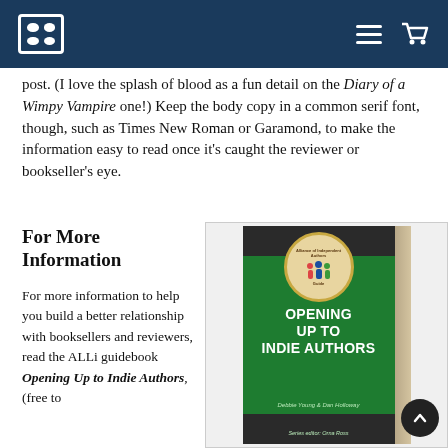[Site header with logo, hamburger menu, and cart icon on dark blue background]
post. (I love the splash of blood as a fun detail on the Diary of a Wimpy Vampire one!) Keep the body copy in a common serif font, though, such as Times New Roman or Garamond, to make the information easy to read once it's caught the reviewer or bookseller's eye.
For More Information
For more information to help you build a better relationship with booksellers and reviewers, read the ALLi guidebook Opening Up to Indie Authors, (free to
[Figure (photo): Book cover of 'Opening Up to Indie Authors' by Debbie Young & Dan Holloway, Series editor: Orna Ross. Dark green cover with ALLi badge logo showing three colored figures, bold white title text.]